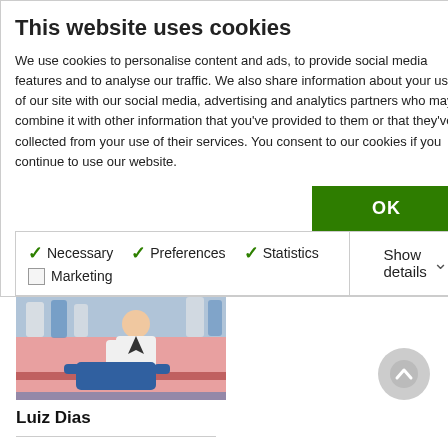This website uses cookies
We use cookies to personalise content and ads, to provide social media features and to analyse our traffic. We also share information about your use of our site with our social media, advertising and analytics partners who may combine it with other information that you've provided to them or that they've collected from your use of their services. You consent to our cookies if you continue to use our website.
OK
Necessary  Preferences  Statistics  Marketing  Show details
BJJ HEROES,
[Figure (photo): Two BJJ practitioners grappling on a mat; one in white gi, one in blue gi, in what appears to be a training or competition setting.]
Luiz Dias
5 COMMENTS